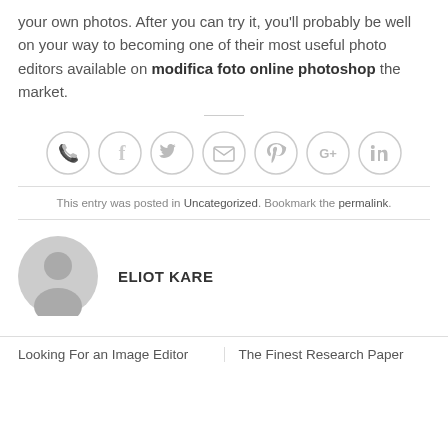your own photos. After you can try it, you'll probably be well on your way to becoming one of their most useful photo editors available on modifica foto online photoshop the market.
[Figure (infographic): Row of 7 circular social sharing icons: phone, facebook, twitter, email, pinterest, google+, linkedin]
This entry was posted in Uncategorized. Bookmark the permalink.
[Figure (photo): Generic gray user avatar placeholder image]
ELIOT KARE
Looking For an Image Editor
The Finest Research Paper